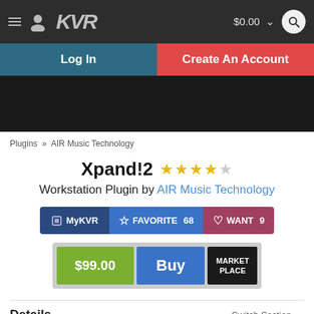KVR $0.00
Log In | Create An Account
Plugins » AIR Music Technology
Xpand!2
Workstation Plugin by AIR Music Technology
MyKVR | FAVORITE 68 | WANT 9
$99.00 | Buy | MARKET PLACE
Details
Switch Section